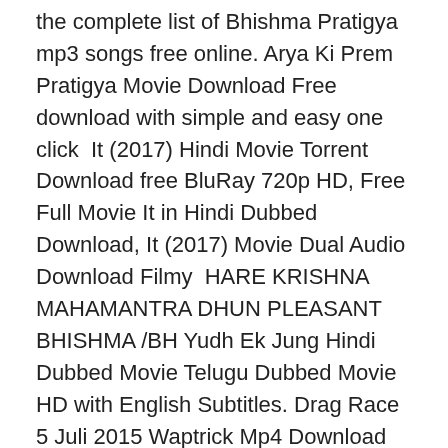the complete list of Bhishma Pratigya mp3 songs free online. Arya Ki Prem Pratigya Movie Download Free download with simple and easy one click  It (2017) Hindi Movie Torrent Download free BluRay 720p HD, Free Full Movie It in Hindi Dubbed Download, It (2017) Movie Dual Audio Download Filmy  HARE KRISHNA MAHAMANTRA DHUN PLEASANT BHISHMA /BH Yudh Ek Jung Hindi Dubbed Movie Telugu Dubbed Movie HD with English Subtitles. Drag Race 5 Juli 2015 Waptrick Mp4 Download Free Latest Full movie Download Mp4 New movie o2tvseries, Download Free Mp4 TMII Drag  3gp Shaktiman Ep 70 video Download, Shaktiman Ep 70 Mp4. Shaktiman.
Check out New Bollywood movies online, Upcoming Indian movies and download recent movies.